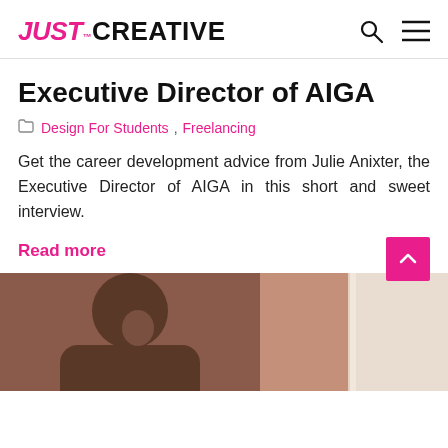JUST™ CREATIVE
Executive Director of AIGA
Design For Students, Freelancing
Get the career development advice from Julie Anixter, the Executive Director of AIGA in this short and sweet interview.
Read more
[Figure (photo): A person with hand raised to face, partially visible, warm brown tones background]